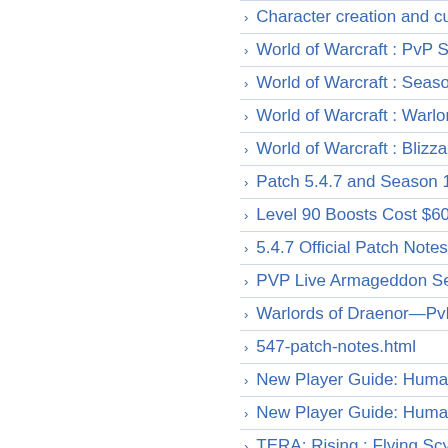Character creation and customization…
World of Warcraft : PvP Skirmishes & S…
World of Warcraft : Season 14 to Close…
World of Warcraft : Warlords of Draeno…
World of Warcraft : Blizzard Store Reop…
Patch 5.4.7 and Season 15 PvP Guide…
Level 90 Boosts Cost $60, PvP Specta…
5.4.7 Official Patch Notes
PVP Live Armageddon Series 2014 Tea…
Warlords of Draenor—PvP Update
547-patch-notes.html
New Player Guide: Human Starting Zo…
New Player Guide: Human Starting Zo…
TERA: Rising : Flying Scythe User Ann…
TERA: Rising : Banquet of Blood Arrive…